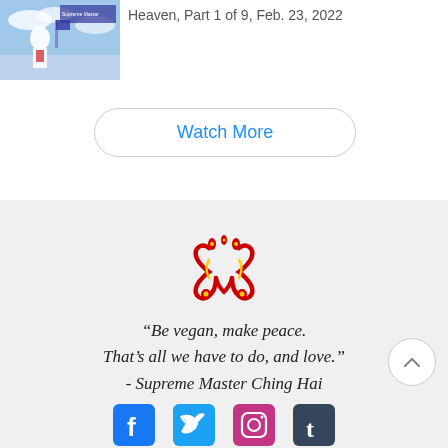[Figure (screenshot): Video thumbnail showing a person in white clothing with a spiritual/heavenly background scene]
Heaven, Part 1 of 9, Feb. 23, 2022
Watch More
[Figure (logo): Supreme Master Ching Hai logo - red and yellow ornate symmetrical design resembling two hearts and scrolls]
“Be vegan, make peace. That’s all we have to do, and love.” - Supreme Master Ching Hai
[Figure (infographic): Social media icons: Facebook, Twitter, Instagram, Tumblr]